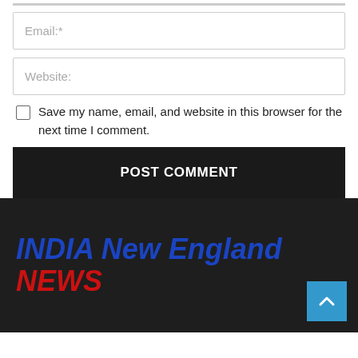Email:*
Website:
Save my name, email, and website in this browser for the next time I comment.
POST COMMENT
[Figure (logo): India New England NEWS logo — 'INDIA New England' in bold italic blue, 'NEWS' in bold italic red, on dark background]